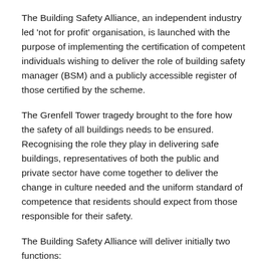The Building Safety Alliance, an independent industry led 'not for profit' organisation, is launched with the purpose of implementing the certification of competent individuals wishing to deliver the role of building safety manager (BSM) and a publicly accessible register of those certified by the scheme.
The Grenfell Tower tragedy brought to the fore how the safety of all buildings needs to be ensured. Recognising the role they play in delivering safe buildings, representatives of both the public and private sector have come together to deliver the change in culture needed and the uniform standard of competence that residents should expect from those responsible for their safety.
The Building Safety Alliance will deliver initially two functions:
The certification of individual building safety managers